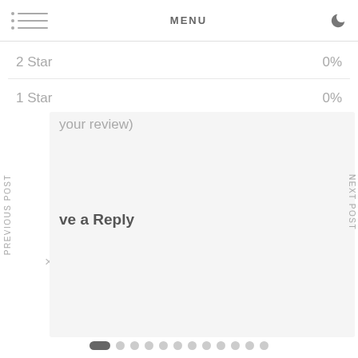MENU
2 Star    0%
1 Star    0%
your review)
ve a Reply
PREVIOUS POST
NEXT POST
[Figure (screenshot): Slider carousel showing 'Egypt to the World' with left and right arrow navigation buttons and a thumbnail image]
Egypt to the World